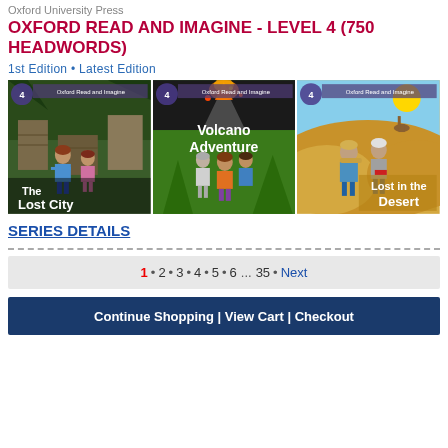Oxford University Press
OXFORD READ AND IMAGINE - LEVEL 4 (750 HEADWORDS)
1st Edition • Latest Edition
[Figure (illustration): Three book covers side by side: 'The Lost City', 'Volcano Adventure', and 'Lost in the Desert', all part of Oxford Read and Imagine Level 4 series]
SERIES DETAILS
1 • 2 • 3 • 4 • 5 • 6 ... 35 • Next
Continue Shopping | View Cart | Checkout